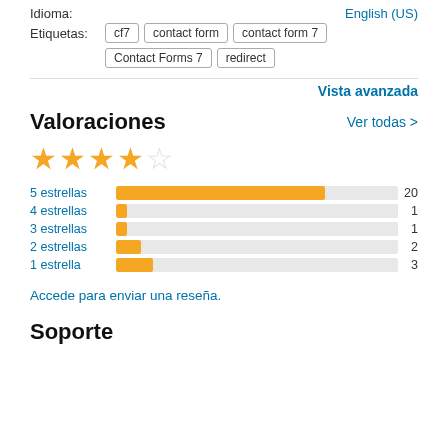Idioma:
English (US)
Etiquetas:
cf7   contact form   contact form 7   Contact Forms 7   redirect
Vista avanzada
Valoraciones
Ver todas >
[Figure (bar-chart): Valoraciones por estrellas]
Accede para enviar una reseña.
Soporte